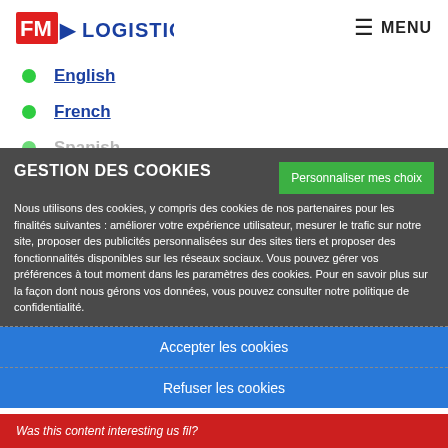[Figure (logo): FM Logistic logo with red FM, blue arrow and LOGISTIC text]
≡ MENU
English
French
Spanish
GESTION DES COOKIES
Personnaliser mes choix
Nous utilisons des cookies, y compris des cookies de nos partenaires pour les finalités suivantes : améliorer votre expérience utilisateur, mesurer le trafic sur notre site, proposer des publicités personnalisées sur des sites tiers et proposer des fonctionnalités disponibles sur les réseaux sociaux. Vous pouvez gérer vos préférences à tout moment dans les paramètres des cookies. Pour en savoir plus sur la façon dont nous gérons vos données, vous pouvez consulter notre politique de confidentialité.
Accepter les cookies
Refuser les cookies
Was this content interesting us fil?